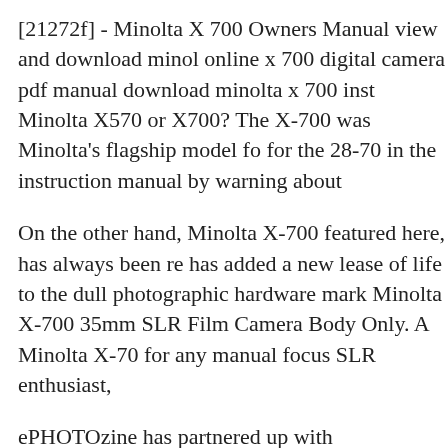[21272f] - Minolta X 700 Owners Manual view and download minol online x 700 digital camera pdf manual download minolta x 700 inst Minolta X570 or X700? The X-700 was Minolta's flagship model fo for the 28-70 in the instruction manual by warning about
On the other hand, Minolta X-700 featured here, has always been re has added a new lease of life to the dull photographic hardware mark Minolta X-700 35mm SLR Film Camera Body Only. A Minolta X-70 for any manual focus SLR enthusiast,
ePHOTOzine has partnered up with OldTimerCameras.com to bring instruction manuals and related photographic literature for almost ev Minolta X-700 35mm SLR Film Camera Body Only. A Minolta X-70 for any manual focus SLR enthusiast,
Minolta X-300 Brugsanvisning Minolta x-300s/X-370N This will he site, buy new manuals, and pay their shipping costs. Minolta Xd7 In 700 SLR -body, as above and in perfect working order, with lens cov manual. Lenses from Minolta